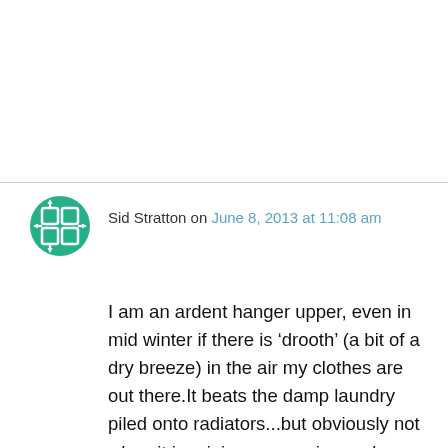[Figure (logo): Green and white grid/compass icon avatar for user Sid Stratton]
Sid Stratton on June 8, 2013 at 11:08 am
I am an ardent hanger upper, even in mid winter if there is ‘drooth’ (a bit of a dry breeze) in the air my clothes are out there.It beats the damp laundry piled onto radiators...but obviously not when it is raining or snowing and definitely never ever on a Sunday....Sundays are for lounging
Privacy & Cookies: This site uses cookies. By continuing to use this website, you agree to their use.
To find out more, including how to control cookies, see here: Cookie Policy
Close and accept